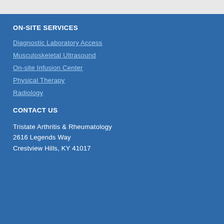ON-SITE SERVICES
Diagnostic Laboratory Access
Musculoskeletal Ultrasound
On-site Infusion Center
Physical Therapy
Radiology
CONTACT US
Tristate Arthritis & Rheumatology
2616 Legends Way
Crestview Hills, KY 41017
To Appointment call 859-331-3155